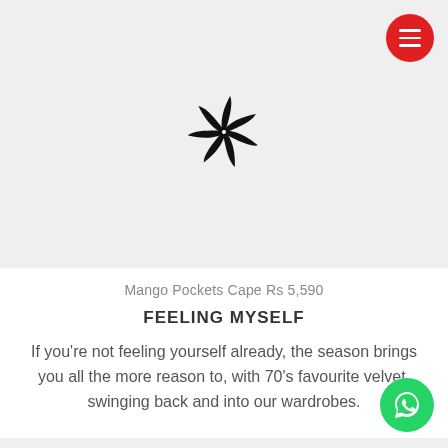[Figure (logo): Spinning pinwheel/flower logo in black on grey background, centered in image placeholder area]
Mango Pockets Cape Rs 5,590
FEELING MYSELF
If you're not feeling yourself already, the season brings you all the more reason to, with 70's favourite velvet, swinging back and into our wardrobes.